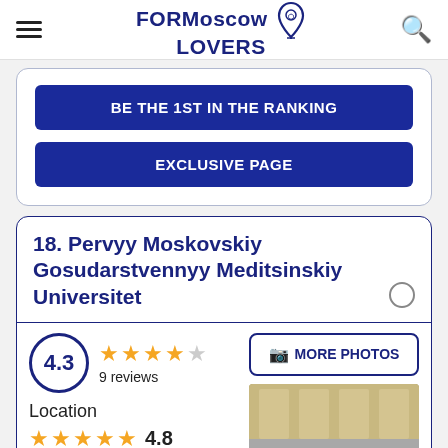FORMoscow LOVERS
BE THE 1ST IN THE RANKING
EXCLUSIVE PAGE
18. Pervyy Moskovskiy Gosudarstvennyy Meditsinskiy Universitet
4.3
9 reviews
Location
4.8